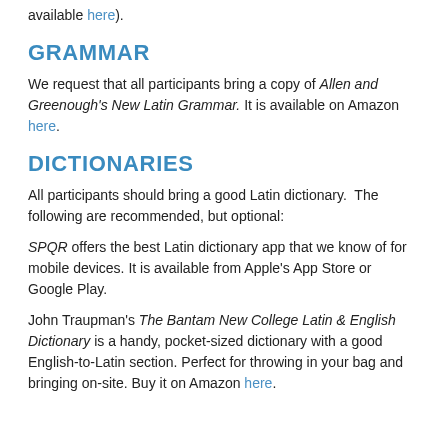available here).
GRAMMAR
We request that all participants bring a copy of Allen and Greenough's New Latin Grammar. It is available on Amazon here.
DICTIONARIES
All participants should bring a good Latin dictionary.  The following are recommended, but optional:
SPQR offers the best Latin dictionary app that we know of for mobile devices. It is available from Apple's App Store or Google Play.
John Traupman's The Bantam New College Latin & English Dictionary is a handy, pocket-sized dictionary with a good English-to-Latin section. Perfect for throwing in your bag and bringing on-site. Buy it on Amazon here.